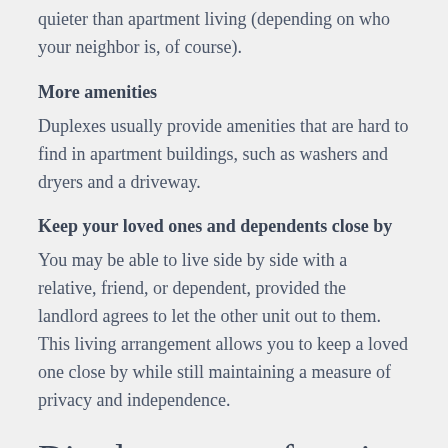quieter than apartment living (depending on who your neighbor is, of course).
More amenities
Duplexes usually provide amenities that are hard to find in apartment buildings, such as washers and dryers and a driveway.
Keep your loved ones and dependents close by
You may be able to live side by side with a relative, friend, or dependent, provided the landlord agrees to let the other unit out to them. This living arrangement allows you to keep a loved one close by while still maintaining a measure of privacy and independence.
Disadvantages of renting a